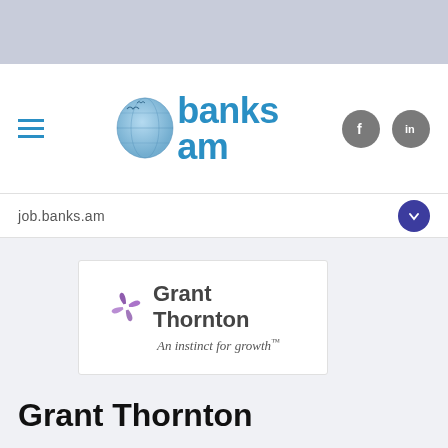[Figure (logo): banks.am website header with globe logo, hamburger menu icon, and social media icons (Facebook and LinkedIn)]
job.banks.am
[Figure (logo): Grant Thornton logo with purple spiral icon and tagline 'An instinct for growth']
Grant Thornton